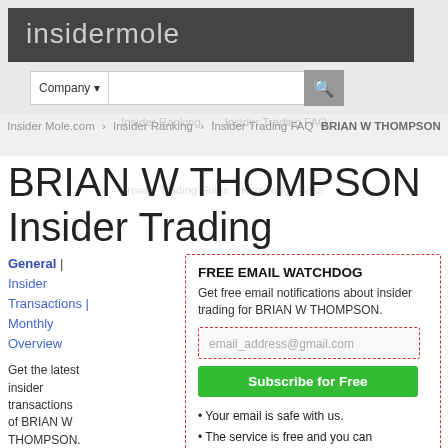insidermole
Company ▾ [search bar]
Insider Mole.com > Insider Ranking > Insider Trading FAQ > BRIAN W THOMPSON
BRIAN W THOMPSON Insider Trading
General | Insider Transactions | Monthly Overview
Get the latest insider transactions of BRIAN W THOMPSON. BRIAN W THOMPSON is a President
FREE EMAIL WATCHDOG
Get free email notifications about insider trading for BRIAN W THOMPSON.
email_address@gmail.com
Subscribe for Free
• Your email is safe with us.
• The service is free and you can unsubscribe at any time.